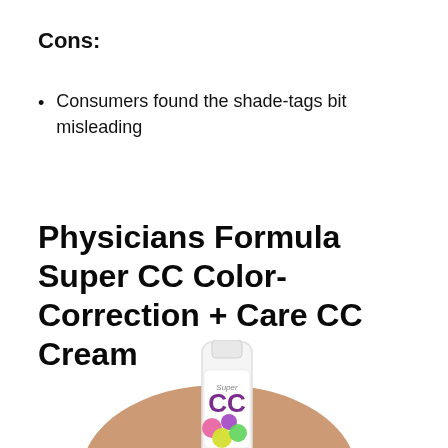Cons:
Consumers found the shade-tags bit misleading
Physicians Formula Super CC Color-Correction + Care CC Cream
[Figure (photo): A tube of Physicians Formula Super CC cream held against a beige/tan cream swatch background. The tube is white with a colorful logo featuring pink, purple, yellow and green circles spelling 'Super CC'. A hand partially holds the tube from below.]